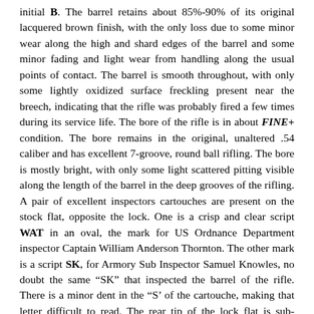initial B. The barrel retains about 85%-90% of its original lacquered brown finish, with the only loss due to some minor wear along the high and shard edges of the barrel and some minor fading and light wear from handling along the usual points of contact. The barrel is smooth throughout, with only some lightly oxidized surface freckling present near the breech, indicating that the rifle was probably fired a few times during its service life. The bore of the rifle is in about FINE+ condition. The bore remains in the original, unaltered .54 caliber and has excellent 7-groove, round ball rifling. The bore is mostly bright, with only some light scattered pitting visible along the length of the barrel in the deep grooves of the rifling. A pair of excellent inspectors cartouches are present on the stock flat, opposite the lock. One is a crisp and clear script WAT in an oval, the mark for US Ordnance Department inspector Captain William Anderson Thornton. The other mark is a script SK, for Armory Sub Inspector Samuel Knowles, no doubt the same “SK” that inspected the barrel of the rifle. There is a minor dent in the “S’ of the cartouche, making that letter difficult to read. The rear tip of the lock flat is sub-inspected with a single, tiny K. The brass buttplate is marked on the top with a small US to the rear of the buttplate screw. The sub-inspector initial W is stamped forward of the buttplate screw. The brass furniture has a